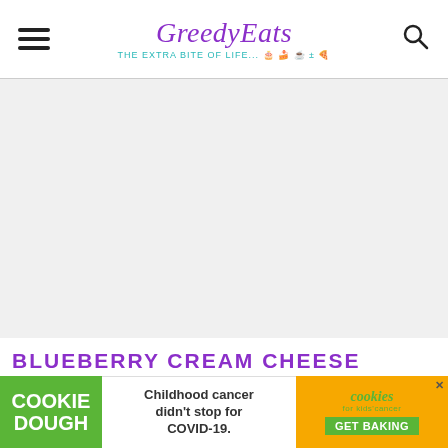GreeedyEats — The EXTRA BITE of Life...
[Figure (photo): Large blank/white image area representing a food blog article photo placeholder]
BLUEBERRY CREAM CHEESE F... P
[Figure (infographic): Cookie Dough advertisement banner: green left panel 'COOKIE DOUGH', white center 'Childhood cancer didn't stop for COVID-19.', orange right panel 'cookies for kids cancer GET BAKING' with close button]